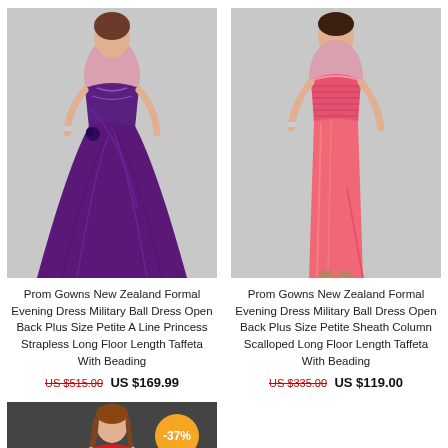[Figure (photo): Purple prom gown - floor length taffeta strapless A-line dress on model, light gray background]
Prom Gowns New Zealand Formal Evening Dress Military Ball Dress Open Back Plus Size Petite A Line Princess Strapless Long Floor Length Taffeta With Beading
US $515.00  US $169.99
[Figure (photo): Coral/pink prom gown - floor length taffeta sheath column dress on model, light gray background]
Prom Gowns New Zealand Formal Evening Dress Military Ball Dress Open Back Plus Size Petite Sheath Column Scalloped Long Floor Length Taffeta With Beading
US $335.00  US $119.00
[Figure (photo): Red/coral strapless formal dress on model, dark background, with -37% discount badge]